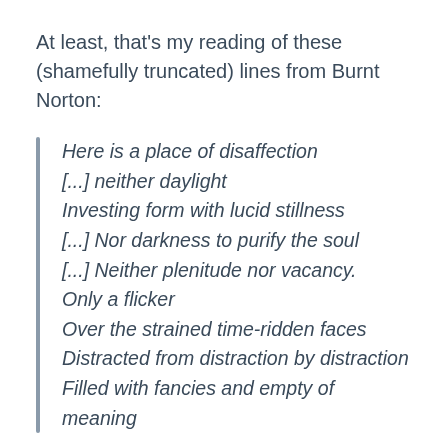At least, that's my reading of these (shamefully truncated) lines from Burnt Norton:
Here is a place of disaffection
[...] neither daylight
Investing form with lucid stillness
[...] Nor darkness to purify the soul
[...] Neither plenitude nor vacancy.
Only a flicker
Over the strained time-ridden faces
Distracted from distraction by distraction
Filled with fancies and empty of meaning